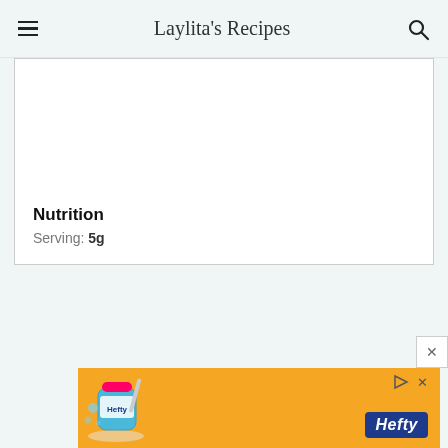Laylita's Recipes
Nutrition
Serving: 5g
[Figure (photo): Advertisement banner for Hefty brand products showing a product illustration on an orange background with Hefty logo]